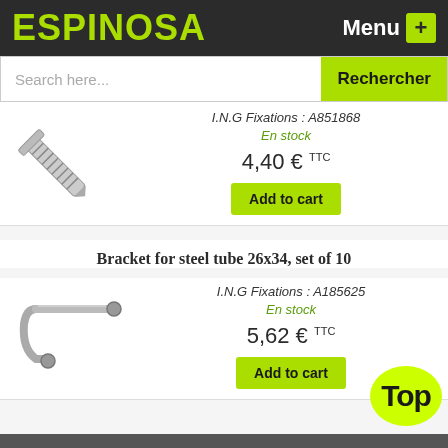ESPINOSA — Menu
Search here...
Rechercher
I.N.G Fixations : A851868
En stock
4,40 € TTC
Add to cart
Bracket for steel tube 26x34, set of 10
I.N.G Fixations : A185625
En stock
5,62 € TTC
Add to cart